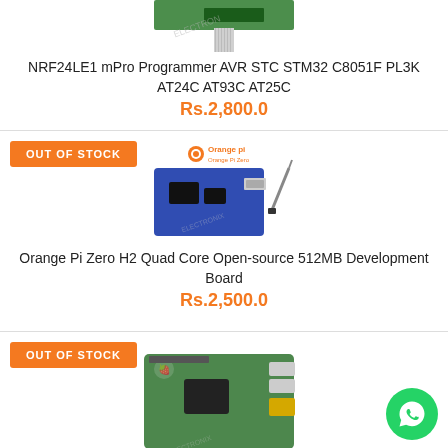[Figure (photo): NRF24LE1 mPro Programmer device photo, partially cropped at top]
NRF24LE1 mPro Programmer AVR STC STM32 C8051F PL3K AT24C AT93C AT25C
Rs.2,800.0
OUT OF STOCK
[Figure (photo): Orange Pi Zero H2 Quad Core development board with antenna]
Orange Pi Zero H2 Quad Core Open-source 512MB Development Board
Rs.2,500.0
OUT OF STOCK
[Figure (photo): Raspberry Pi board, partially cropped at bottom]